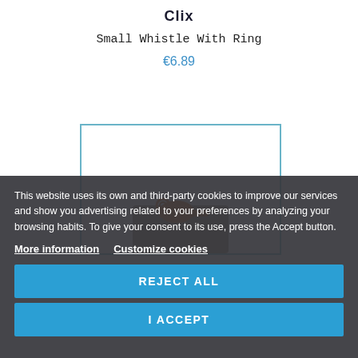Clix
Small Whistle With Ring
€6.89
[Figure (photo): Product image box with an orange whistle partially visible against a dark background]
This website uses its own and third-party cookies to improve our services and show you advertising related to your preferences by analyzing your browsing habits. To give your consent to its use, press the Accept button.
More information
Customize cookies
REJECT ALL
I ACCEPT